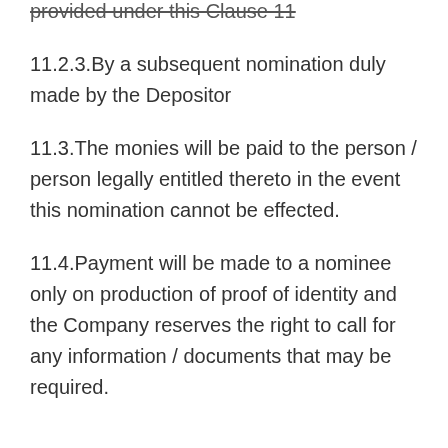provided under this Clause 11
11.2.3.By a subsequent nomination duly made by the Depositor
11.3.The monies will be paid to the person / person legally entitled thereto in the event this nomination cannot be effected.
11.4.Payment will be made to a nominee only on production of proof of identity and the Company reserves the right to call for any information / documents that may be required.